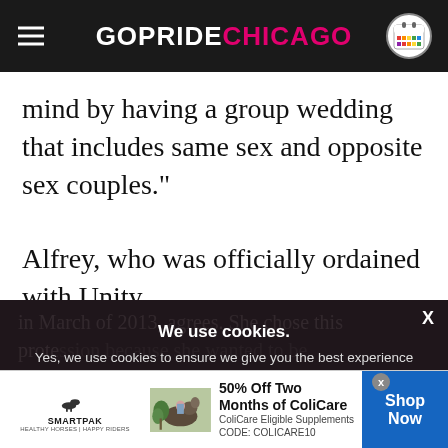GOPRIDE CHICAGO
mind by having a group wedding that includes same sex and opposite sex couples."
Alfrey, who was officially ordained with Unity
in March of 2013, agrees. She chose this prote... more... community struggle con...
We use cookies.
Yes, we use cookies to ensure we give you the best experience using this website.
By closing this box or clicking on the continue button, you agree to our terms of use and consent to the use of
[Figure (screenshot): SmartPak advertisement banner with horse and rider image, 50% Off Two Months of ColiCare offer, CODE: COLICARE10, Shop Now button]